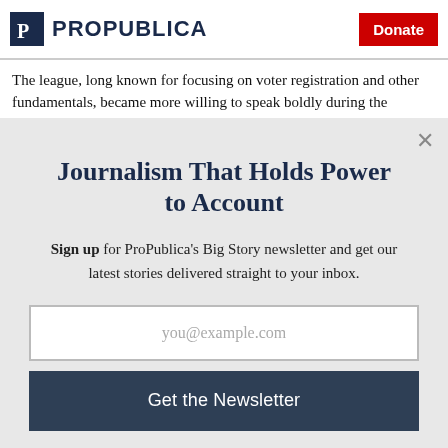ProPublica | Donate
The league, long known for focusing on voter registration and other fundamentals, became more willing to speak boldly during the
Journalism That Holds Power to Account
Sign up for ProPublica's Big Story newsletter and get our latest stories delivered straight to your inbox.
you@example.com
Get the Newsletter
No thanks, I'm all set
This site is protected by reCAPTCHA and the Google Privacy Policy and Terms of Service apply.